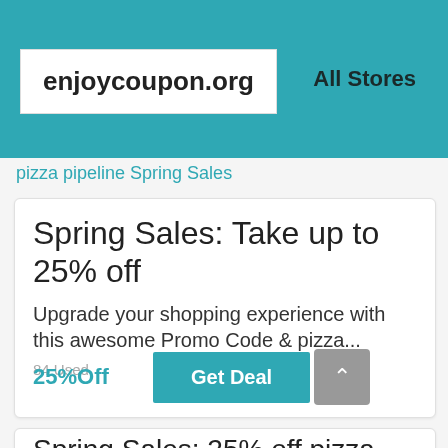enjoycoupon.org   All Stores
pizza pipeline Spring Sales
Spring Sales: Take up to 25% off
Upgrade your shopping experience with this awesome Promo Code & pizza...
84 Used
25%Off
Get Deal
Spring Sales: 25% off pizza